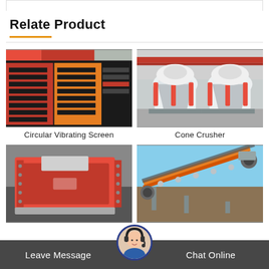Relate Product
[Figure (photo): Circular Vibrating Screen - red and black industrial vibrating screen equipment stacked in a yard]
Circular Vibrating Screen
[Figure (photo): Cone Crusher - white and red cone crusher machines in an industrial warehouse]
Cone Crusher
[Figure (photo): Impact crusher - red and white impact crusher machine]
[Figure (photo): Belt conveyor - orange and grey industrial belt conveyor equipment outdoors]
Leave Message
Chat Online